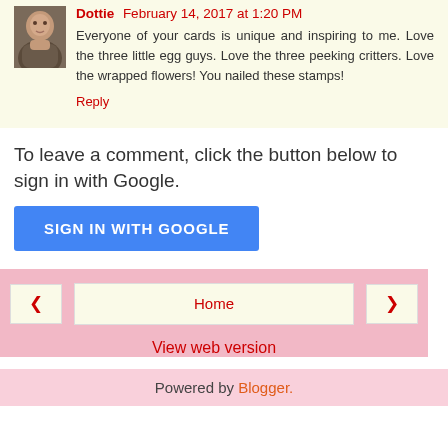Dottie  February 14, 2017 at 1:20 PM
Everyone of your cards is unique and inspiring to me. Love the three little egg guys. Love the three peeking critters. Love the wrapped flowers! You nailed these stamps!
Reply
To leave a comment, click the button below to sign in with Google.
SIGN IN WITH GOOGLE
Home
View web version
Powered by Blogger.